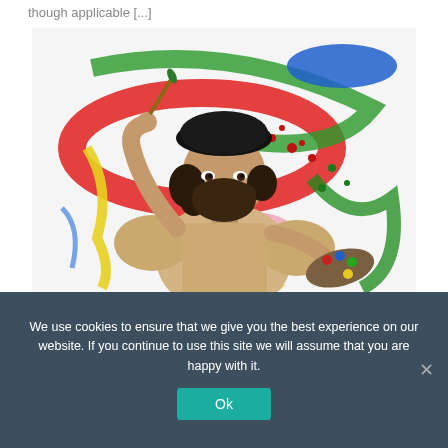though applicable [...]
[Figure (photo): A bearded man wearing a black beret and a loose cream-colored artist's shirt, holding a paintbrush in one hand and a paint palette in the other, standing in front of a white canvas splattered with colorful paint in red, green, blue, yellow, and other colors.]
We use cookies to ensure that we give you the best experience on our website. If you continue to use this site we will assume that you are happy with it.